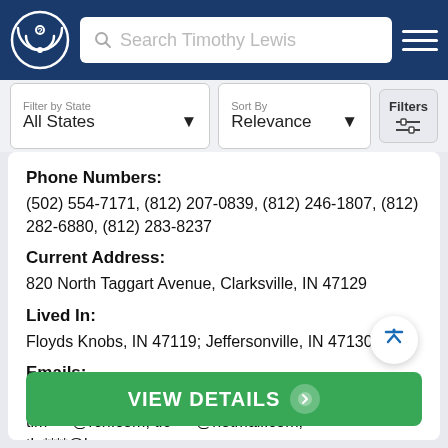[Figure (screenshot): Navigation bar with logo, search box placeholder 'Search Timothy Lewis', and hamburger menu]
[Figure (screenshot): Filter bar with 'Filter by State: All States' dropdown, 'Sort By: Relevance' dropdown, and Filters button]
Phone Numbers:
(502) 554-7171, (812) 207-0839, (812) 246-1807, (812) 282-6880, (812) 283-8237
Current Address:
820 North Taggart Avenue, Clarksville, IN 47129
Lived In:
Floyds Knobs, IN 47119; Jeffersonville, IN 47130
Emails:
lew****@gmail.com, lew****@hotmail.com, tim****@rcn.com, tle****@hotmail.com, tle****@humana.com
VIEW DETAILS